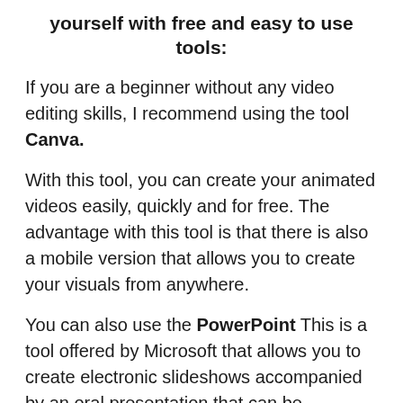yourself with free and easy to use tools:
If you are a beginner without any video editing skills, I recommend using the tool Canva.
With this tool, you can create your animated videos easily, quickly and for free. The advantage with this tool is that there is also a mobile version that allows you to create your visuals from anywhere.
You can also use the PowerPoint This is a tool offered by Microsoft that allows you to create electronic slideshows accompanied by an oral presentation that can be projected on a screen afterwards